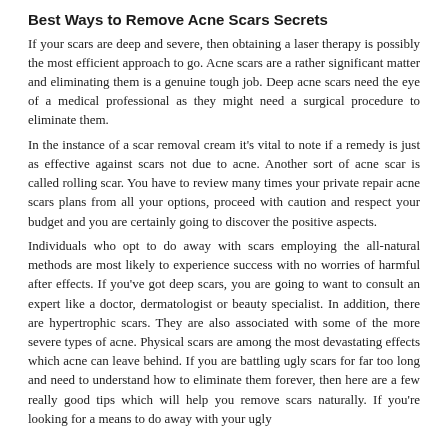Best Ways to Remove Acne Scars Secrets
If your scars are deep and severe, then obtaining a laser therapy is possibly the most efficient approach to go. Acne scars are a rather significant matter and eliminating them is a genuine tough job. Deep acne scars need the eye of a medical professional as they might need a surgical procedure to eliminate them.
In the instance of a scar removal cream it's vital to note if a remedy is just as effective against scars not due to acne. Another sort of acne scar is called rolling scar. You have to review many times your private repair acne scars plans from all your options, proceed with caution and respect your budget and you are certainly going to discover the positive aspects.
Individuals who opt to do away with scars employing the all-natural methods are most likely to experience success with no worries of harmful after effects. If you've got deep scars, you are going to want to consult an expert like a doctor, dermatologist or beauty specialist. In addition, there are hypertrophic scars. They are also associated with some of the more severe types of acne. Physical scars are among the most devastating effects which acne can leave behind. If you are battling ugly scars for far too long and need to understand how to eliminate them forever, then here are a few really good tips which will help you remove scars naturally. If you're looking for a means to do away with your ugly